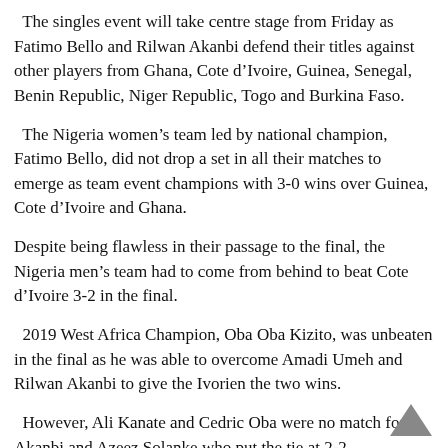The singles event will take centre stage from Friday as Fatimo Bello and Rilwan Akanbi defend their titles against other players from Ghana, Cote d’Ivoire, Guinea, Senegal, Benin Republic, Niger Republic, Togo and Burkina Faso.
The Nigeria women’s team led by national champion, Fatimo Bello, did not drop a set in all their matches to emerge as team event champions with 3-0 wins over Guinea, Cote d’Ivoire and Ghana.
Despite being flawless in their passage to the final, the Nigeria men’s team had to come from behind to beat Cote d’Ivoire 3-2 in the final.
2019 West Africa Champion, Oba Oba Kizito, was unbeaten in the final as he was able to overcome Amadi Umeh and Rilwan Akanbi to give the Ivorien the two wins.
However, Ali Kanate and Cedric Oba were no match for Akanbi and Azeez Solanke who put the tie at 2-2.
Thereafter, Umeh ensured that the hosts claimed the doubles titles on the first day of the competition with a 3-0 win